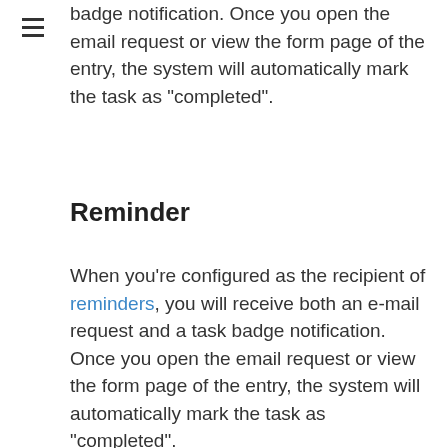badge notification. Once you open the email request or view the form page of the entry, the system will automatically mark the task as "completed".
Reminder
When you're configured as the recipient of reminders, you will receive both an e-mail request and a task badge notification. Once you open the email request or view the form page of the entry, the system will automatically mark the task as "completed".